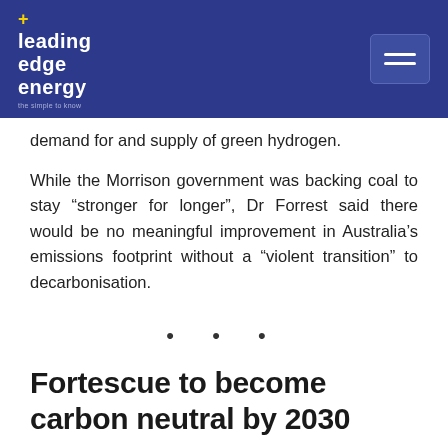+ leading edge energy
demand for and supply of green hydrogen.
While the Morrison government was backing coal to stay “stronger for longer”, Dr Forrest said there would be no meaningful improvement in Australia’s emissions footprint without a “violent transition” to decarbonisation.
• • •
Fortescue to become carbon neutral by 2030
[Figure (photo): Grey image placeholder at the bottom of the page]